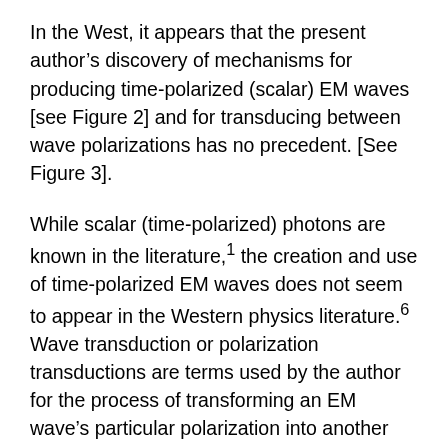In the West, it appears that the present author's discovery of mechanisms for producing time-polarized (scalar) EM waves [see Figure 2] and for transducing between wave polarizations has no precedent. [See Figure 3].
While scalar (time-polarized) photons are known in the literature,1 the creation and use of time-polarized EM waves does not seem to appear in the Western physics literature.6 Wave transduction or polarization transductions are terms used by the author for the process of transforming an EM wave's particular polarization into another polarization type. Such transduction to other than transverse polarization forms is little known in the West. It appears essentially haphazardly in some experiments, usually without any recognition by the experimenters themselves. Significant transduction in experiments will